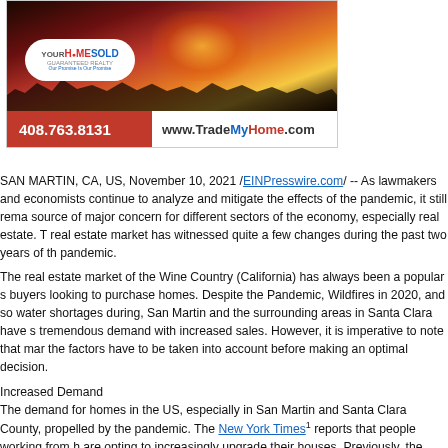[Figure (advertisement): Your Home Sold Guaranteed Realty advertisement with dark/fire background image, logo, phone number 408.763.8131, and website www.TradeMyHome.com]
SAN MARTIN, CA, US, November 10, 2021 /EINPresswire.com/ -- As lawmakers and economists continue to analyze and mitigate the effects of the pandemic, it still remains a source of major concern for different sectors of the economy, especially real estate. The real estate market has witnessed quite a few changes during the past two years of the pandemic.
The real estate market of the Wine Country (California) has always been a popular spot for buyers looking to purchase homes. Despite the Pandemic, Wildfires in 2020, and some water shortages during, San Martin and the surrounding areas in Santa Clara have seen tremendous demand with increased sales. However, it is imperative to note that many of the factors have to be taken into account before making an optimal decision.
Increased Demand
The demand for homes in the US, especially in San Martin and Santa Clara County, has been propelled by the pandemic. The New York Times1 reports that people working from home are opting to increasingly upgrade their houses. Previously, the market witnessed an opposite trend, with people shifting to smaller homes and cheaper cities as compared to expensive urban centers. More importantly, experts suggest that the rise of the Delta Variant is expected to continue in the trend in the upcoming months.
Moreover, the historically low-interest rates and mortgage rates have made it easier